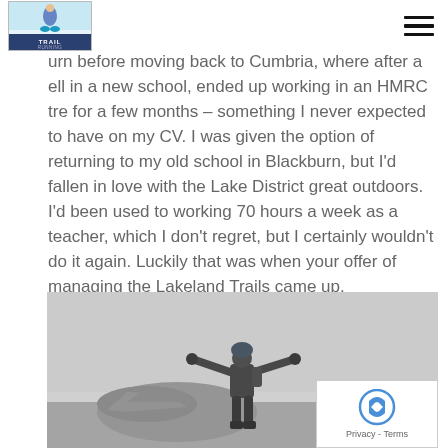Trail Running logo and navigation
urn before moving back to Cumbria, where after a ell in a new school, ended up working in an HMRC tre for a few months – something I never expected to have on my CV. I was given the option of returning to my old school in Blackburn, but I'd fallen in love with the Lake District great outdoors. I'd been used to working 70 hours a week as a teacher, which I don't regret, but I certainly wouldn't do it again. Luckily that was when your offer of managing the Lakeland Trails came up.
[Figure (photo): Person in dark outdoor gear and hat standing with arms outstretched on a misty mountain summit with a stone cairn, celebrating on a foggy hilltop. Grey sky background.]